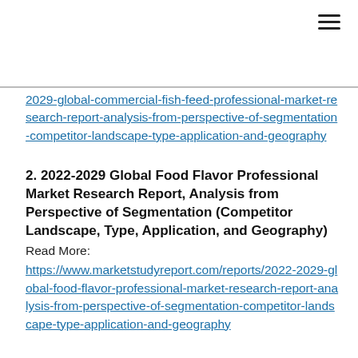2029-global-commercial-fish-feed-professional-market-research-report-analysis-from-perspective-of-segmentation-competitor-landscape-type-application-and-geography (link, continues from previous page)
2. 2022-2029 Global Food Flavor Professional Market Research Report, Analysis from Perspective of Segmentation (Competitor Landscape, Type, Application, and Geography)
Read More:
https://www.marketstudyreport.com/reports/2022-2029-global-food-flavor-professional-market-research-report-analysis-from-perspective-of-segmentation-competitor-landscape-type-application-and-geography